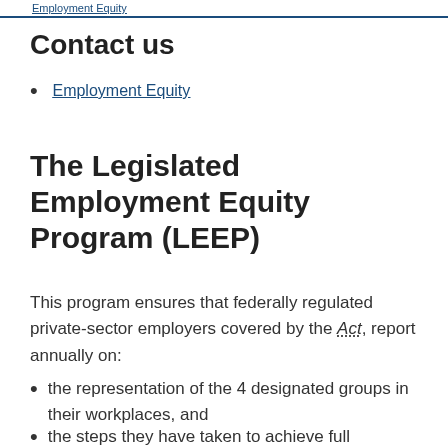Employment Equity
Contact us
Employment Equity
The Legislated Employment Equity Program (LEEP)
This program ensures that federally regulated private-sector employers covered by the Act, report annually on:
the representation of the 4 designated groups in their workplaces, and
the steps they have taken to achieve full